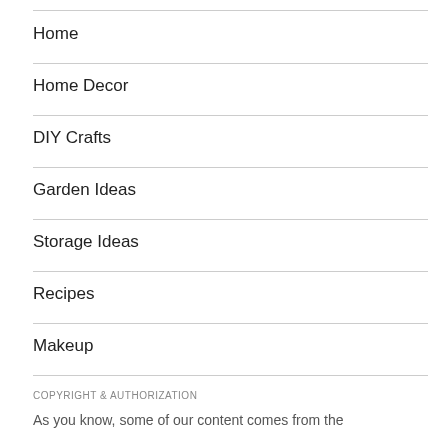Home
Home Decor
DIY Crafts
Garden Ideas
Storage Ideas
Recipes
Makeup
COPYRIGHT & AUTHORIZATION
As you know, some of our content comes from the